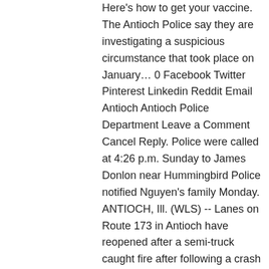Here's how to get your vaccine. The Antioch Police say they are investigating a suspicious circumstance that took place on January… 0 Facebook Twitter Pinterest Linkedin Reddit Email Antioch Antioch Police Department Leave a Comment Cancel Reply. Police were called at 4:26 p.m. Sunday to James Donlon near Hummingbird Police notified Nguyen's family Monday. ANTIOCH, Ill. (WLS) -- Lanes on Route 173 in Antioch have reopened after a semi-truck caught fire after following a crash with an SUV Monday morning. Highway 4 Accident Injures Antioch Resident Sadly, a recent three-car accident on Highway 4 ended with one fatality and another two people with injuries ranging from mild-to-major. Filed Under: Antioch, Fatal accident, Pedestrian Killed ANTIOCH (CBS SF) — An 11-year-old boy was killed Thursday evening in a collision with a vehicle in Antioch, police said. Jan. 12, 2019 Updated: Jan. 12, 2019 10:38 a.m. Facebook Twitter Email.